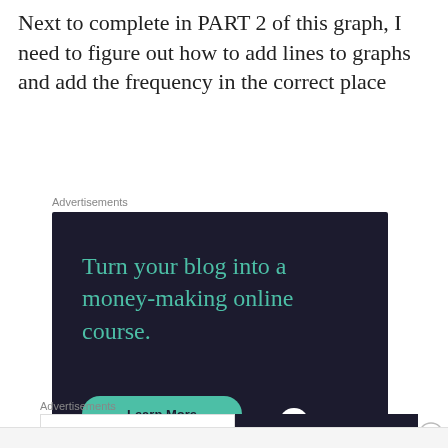Next to complete in PART 2 of this graph, I need to figure out how to add lines to graphs and add the frequency in the correct place
Advertisements
[Figure (infographic): Dark-background advertisement for Sensei: 'Turn your blog into a money-making online course.' with a teal Learn More button and Sensei logo]
Advertisements
[Figure (infographic): Two-part ad: left white panel 'The first rule of Startup School?', right dark panel 'Ask questions.' with WordPress and other logos]